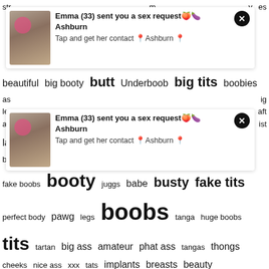[Figure (screenshot): Ad popup card 1: Emma (33) sent you a sex request, Ashburn, Tap and get her contact, with photo and close button]
[Figure (screenshot): Ad popup card 2: Emma (33) sent you a sex request, Ashburn, Tap and get her contact, with photo and close button]
beautiful big booty butt Underboob big tits boobies as ig len aft ar ist latina model panties hot gorgeous gif jiggle boobs gif beautiful woman naked nipples Bella French fake boobs booty juggs babe busty fake tits perfect body pawg legs boobs tanga huge boobs tits tartan big ass amateur phat ass tangas thongs cheeks nice ass xxx tats implants breasts beauty blonde arse thong dat ass bikini big boobs perfect ass selfie lingerie topless whooty